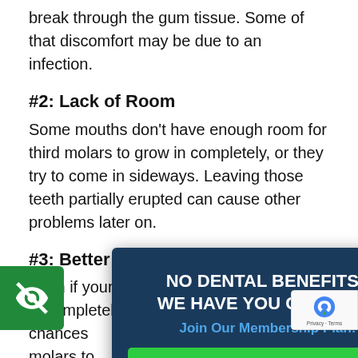break through the gum tissue. Some of that discomfort may be due to an infection.
#2: Lack of Room
Some mouths don't have enough room for third molars to grow in completely, or they try to come in sideways. Leaving those teeth partially erupted can cause other problems later on.
#3: Better Oral Health
Even if your teens wisdom teeth do grow in completely, the chances … reach their third molars to keep them clean is pretty slim. Wisdom teeth often end up … they are too difficult to … the adjacent … irritation and inflammation of the gum tissue surrounding wisdom tooth is a common occurrence.
[Figure (other): Popup overlay: dark navy background with white bold text 'NO DENTAL BENEFITS? WE HAVE YOU COVERED!', teal subtext 'Join Our Membership Plan!', and a green 'LEARN MORE' button. Close X in top right corner.]